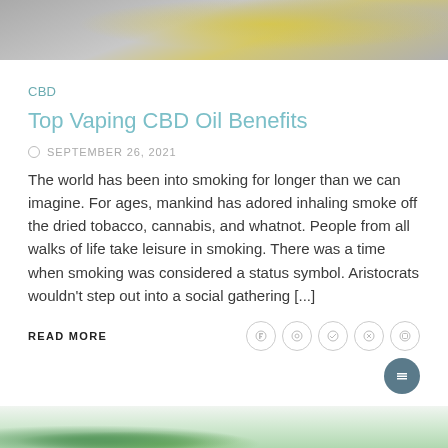[Figure (photo): Top portion of a photo showing glass bottles with yellow/gold liquid (CBD oil) with gray background]
CBD
Top Vaping CBD Oil Benefits
SEPTEMBER 26, 2021
The world has been into smoking for longer than we can imagine. For ages, mankind has adored inhaling smoke off the dried tobacco, cannabis, and whatnot. People from all walks of life take leisure in smoking. There was a time when smoking was considered a status symbol. Aristocrats wouldn't step out into a social gathering [...]
READ MORE
[Figure (photo): Bottom portion of a photo showing green plant leaves (aloe or similar) on a white/light background]